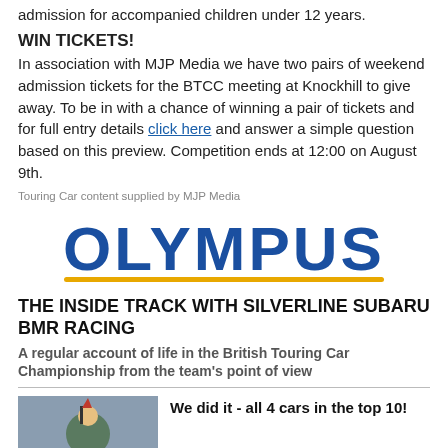admission for accompanied children under 12 years.
WIN TICKETS!
In association with MJP Media we have two pairs of weekend admission tickets for the BTCC meeting at Knockhill to give away. To be in with a chance of winning a pair of tickets and for full entry details click here and answer a simple question based on this preview. Competition ends at 12:00 on August 9th.
Touring Car content supplied by MJP Media
[Figure (logo): Olympus logo in dark blue bold text with a golden/yellow underline]
THE INSIDE TRACK WITH SILVERLINE SUBARU BMR RACING
A regular account of life in the British Touring Car Championship from the team's point of view
[Figure (photo): A racing driver celebrating on top of a car at a race event]
We did it - all 4 cars in the top 10!